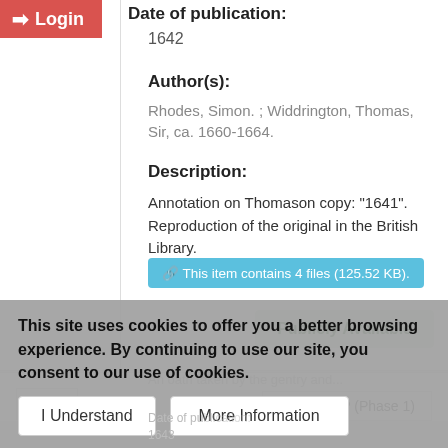Login
Date of publication:
1642
Author(s):
Rhodes, Simon. ; Widdrington, Thomas, Sir, ca. 1660-1664.
Description:
Annotation on Thomason copy: "1641". Reproduction of the original in the British Library.
This item contains 4 files (125.52 KB).
Publicly Available
Text
EEBO-TCP (Phase 1)
This site uses cookies to offer you a better browsing experience. By continuing to use our site, you consent to our use of cookies.